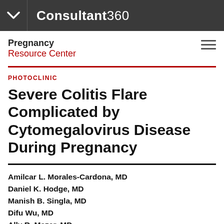Consultant360
Pregnancy Resource Center
PHOTOCLINIC
Severe Colitis Flare Complicated by Cytomegalovirus Disease During Pregnancy
Amilcar L. Morales-Cardona, MD
Daniel K. Hodge, MD
Manish B. Singla, MD
Difu Wu, MD
Ally R. Mazer, MD
Anita Bhushan, MD